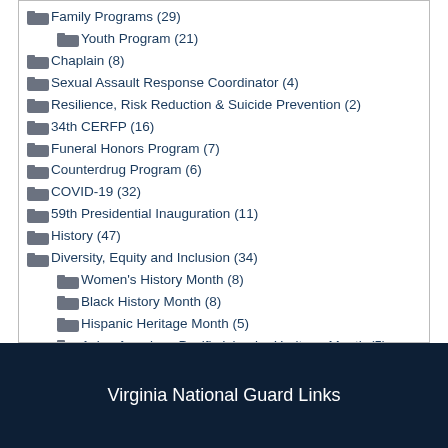Family Programs (29)
Youth Program (21)
Chaplain (8)
Sexual Assault Response Coordinator (4)
Resilience, Risk Reduction & Suicide Prevention (2)
34th CERFP (16)
Funeral Honors Program (7)
Counterdrug Program (6)
COVID-19 (32)
59th Presidential Inauguration (11)
History (47)
Diversity, Equity and Inclusion (34)
Women's History Month (8)
Black History Month (8)
Hispanic Heritage Month (5)
Asian American Pacific Islander Heritage Month (5)
LGBTQ+ Pride Month (6)
Virginia National Guard Links